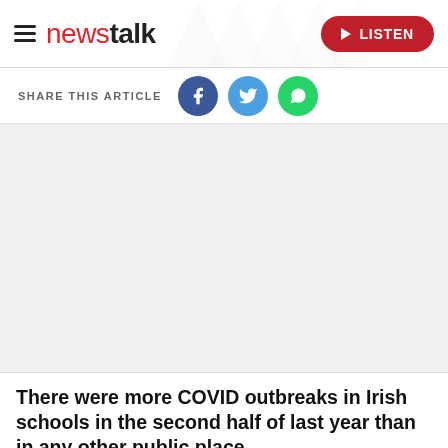newstalk — LISTEN
SHARE THIS ARTICLE
[Figure (screenshot): Blank image placeholder area below the share bar]
There were more COVID outbreaks in Irish schools in the second half of last year than in any other public place